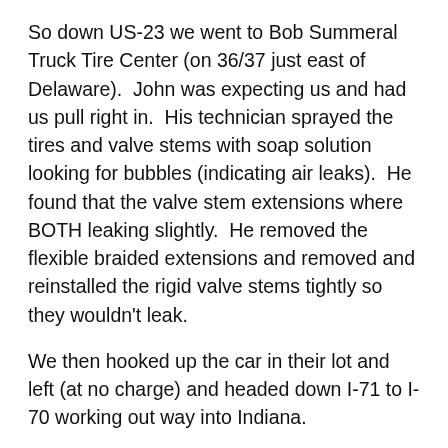So down US-23 we went to Bob Summeral Truck Tire Center (on 36/37 just east of Delaware).  John was expecting us and had us pull right in.  His technician sprayed the tires and valve stems with soap solution looking for bubbles (indicating air leaks).  He found that the valve stem extensions where BOTH leaking slightly.  He removed the flexible braided extensions and removed and reinstalled the rigid valve stems tightly so they wouldn't leak.
We then hooked up the car in their lot and left (at no charge) and headed down I-71 to I-70 working out way into Indiana.
We're spending the night at a real nice privately owned campground operated by proprietors Mark and Connie Brown.  They've owned the park for four years now and it's got a lot of shade, a small river runs right through and there are only 65 RV sites on 66 acres of land.  And